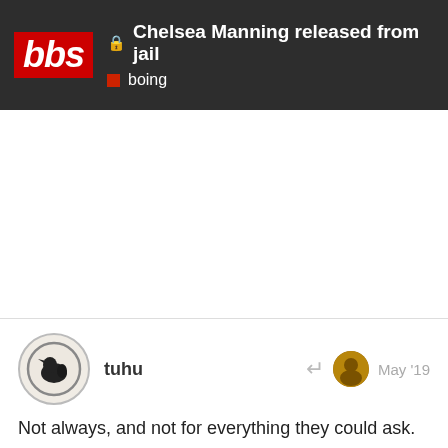Chelsea Manning released from jail | boing
Not always, and not for everything they could ask.
tuhu | May '19
3 likes
KathyPartdeux | 10 / 40